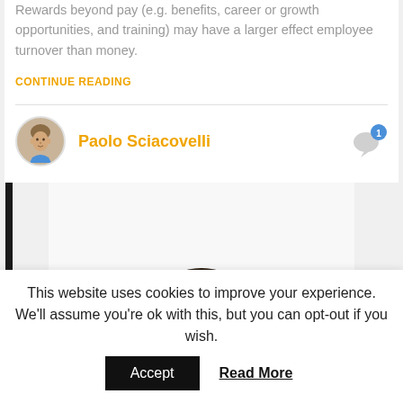Rewards beyond pay (e.g. benefits, career or growth opportunities, and training) may have a larger effect employee turnover than money.
CONTINUE READING
Paolo Sciacovelli
[Figure (photo): Man in light blue shirt making a T-shape timeout gesture with his hands in front of his face]
This website uses cookies to improve your experience. We'll assume you're ok with this, but you can opt-out if you wish.
Accept   Read More